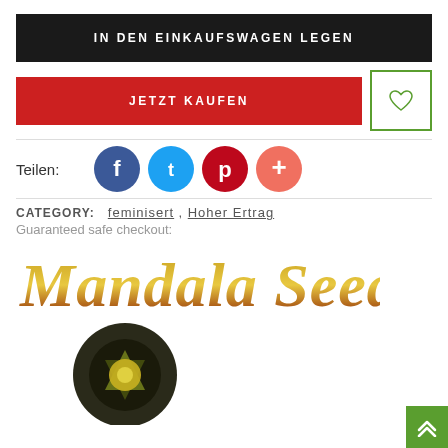IN DEN EINKAUFSWAGEN LEGEN
JETZT KAUFEN
[Figure (other): Social share icons: Facebook (blue circle), Twitter (light blue circle), Pinterest (red circle), Plus/more (salmon circle)]
CATEGORY: feminisert , Hoher Ertrag
Guaranteed safe checkout:
[Figure (logo): Mandala Seeds logo in gradient gold/red italic script font with a circular mandala seed image below]
[Figure (other): Green scroll-to-top button with double up arrow chevron in bottom right corner]